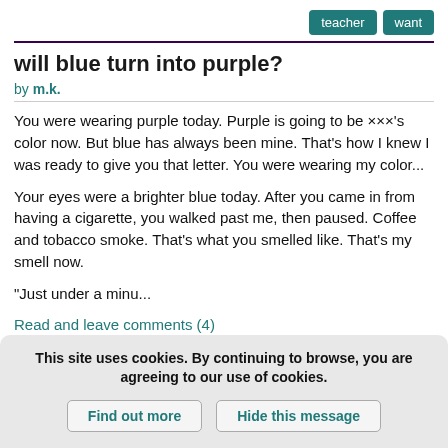teacher  want
will blue turn into purple?
by m.k.
You were wearing purple today. Purple is going to be ×××'s color now. But blue has always been mine. That's how I knew I was ready to give you that letter. You were wearing my color...
Your eyes were a brighter blue today. After you came in from having a cigarette, you walked past me, then paused. Coffee and tobacco smoke. That's what you smelled like. That's my smell now.
"Just under a minu...
Read and leave comments (4)
This site uses cookies. By continuing to browse, you are agreeing to our use of cookies. Find out more  Hide this message